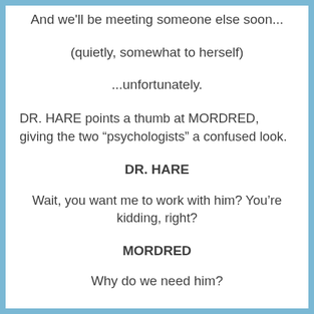And we'll be meeting someone else soon...
(quietly, somewhat to herself)
...unfortunately.
DR. HARE points a thumb at MORDRED, giving the two “psychologists” a confused look.
DR. HARE
Wait, you want me to work with him? You’re kidding, right?
MORDRED
Why do we need him?